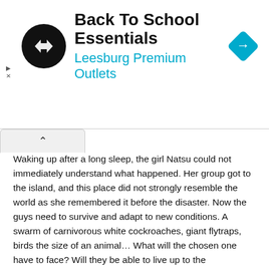[Figure (screenshot): Advertisement banner for 'Back To School Essentials' at Leesburg Premium Outlets. Features a circular black logo with arrow symbols, store name in bold black, subtitle in cyan/blue, and a blue diamond-shaped navigation icon on the right. Small play and close controls on the left edge.]
[Figure (other): Accordion/tab UI element with an upward-pointing caret chevron, indicating a collapsible section.]
Waking up after a long sleep, the girl Natsu could not immediately understand what happened. Her group got to the island, and this place did not strongly resemble the world as she remembered it before the disaster. Now the guys need to survive and adapt to new conditions. A swarm of carnivorous white cockroaches, giant flytraps, birds the size of an animal… What will the chosen one have to face? Will they be able to live up to the expectations assigned to them by scientists many years ago?..
Protagonists anime
5 groups of 7 people. This is what the 7SEEDS government project on cryogenic protection of people looks like, the goal of which is the survival of the human race after the destruction of the world. Due to the fact that scientists were